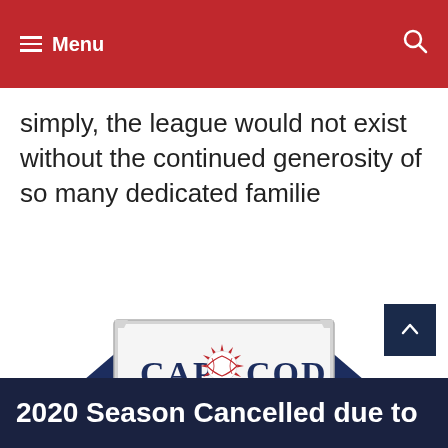Menu
simply, the league would not exist without the continued generosity of so many dedicated familie
[Figure (logo): Cape Cod Baseball League logo — navy diamond shapes on left and right, rectangular badge in center with 'CAPE COD' in large navy letters and a red starburst baseball in the middle, 'BASEBALL LEAGUE' in smaller navy letters below]
2020 Season Cancelled due to